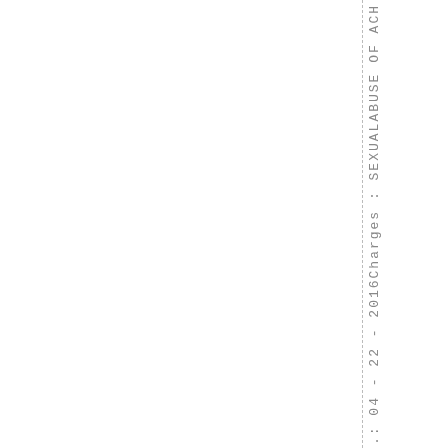.: 04 - 22 - 2016 Charges : SEXUAL ABUSE OF ACH